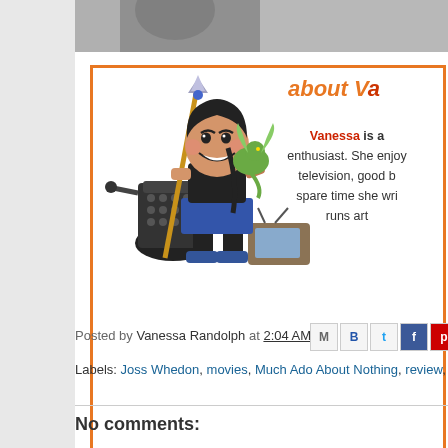[Figure (illustration): Top of page showing a partial grayscale photo strip at the very top]
[Figure (illustration): About Vanessa banner with cartoon avatar of a woman holding a fantasy staff weapon with a small dragon on her shoulder standing next to a Dalek robot and a vintage TV, wearing a blue skirt and sneakers. Orange border box with 'about V' text and partial bio text.]
Posted by Vanessa Randolph at 2:04 AM
Labels: Joss Whedon, movies, Much Ado About Nothing, review, revi...
No comments: